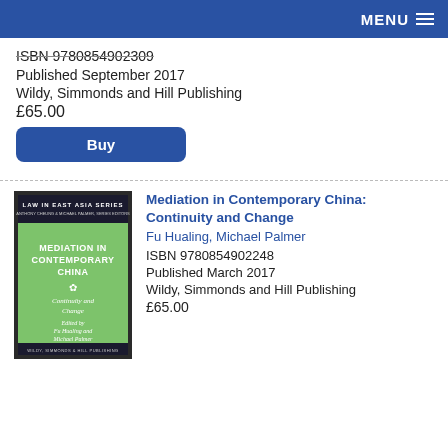MENU
ISBN 9780854902309
Published September 2017
Wildy, Simmonds and Hill Publishing
£65.00
Buy
[Figure (illustration): Book cover: Mediation in Contemporary China: Continuity and Change. Law in East Asia Series. Green cover with dark header and footer. Edited by Fu Hualing and Michael Palmer. Wildy, Simmonds and Hill Publishing.]
Mediation in Contemporary China: Continuity and Change
Fu Hualing, Michael Palmer
ISBN 9780854902248
Published March 2017
Wildy, Simmonds and Hill Publishing
£65.00